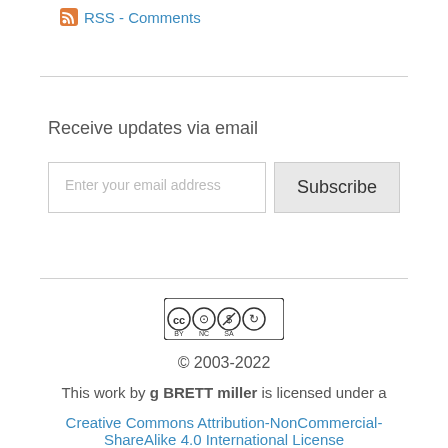RSS - Comments
Receive updates via email
[Figure (other): Email subscription form with input field placeholder 'Enter your email address' and a 'Subscribe' button]
[Figure (logo): Creative Commons BY-NC-SA license badge showing CC, person, dollar-sign-with-slash, and share-alike icons]
© 2003-2022
This work by g BRETT miller is licensed under a
Creative Commons Attribution-NonCommercial-ShareAlike 4.0 International License